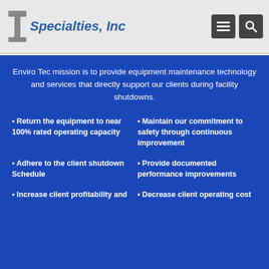[Figure (logo): Enviro Tec Specialties, Inc. logo with stylized T graphic and company name in blue italic text]
Enviro Tec mission is to provide equipment maintenance technology and services that directly support our clients during facility shutdowns.
Return the equipment to near 100% rated operating capacity
Maintain our commitment to safety through continuous improvement
Adhere to the client shutdown Schedule
Provide documented performance improvements
Increase client profitability and
Decrease client operating cost